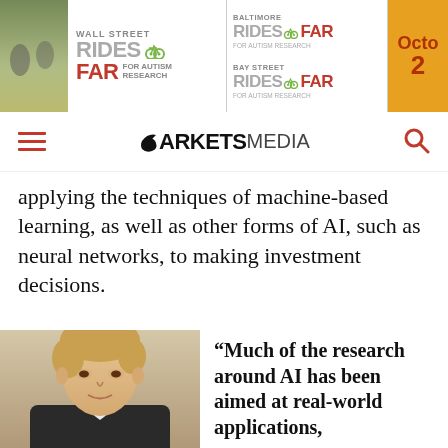[Figure (other): Banner advertisement for Wall Street Rides FAR for Autism Research, Baltimore Rides FAR, Bay Street Rides FAR, with October date panel]
[Figure (logo): Markets Media navigation bar with hamburger menu and search icon]
applying the techniques of machine-based learning, as well as other forms of AI, such as neural networks, to making investment decisions.
[Figure (photo): Headshot of a man with light brown hair in a suit]
“Much of the research around AI has been aimed at real-world applications,